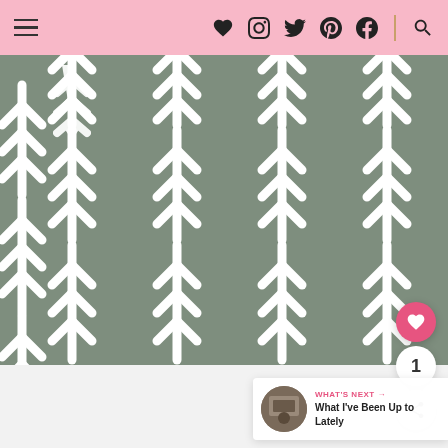Navigation header with hamburger menu and social icons (heart, instagram, twitter, pinterest, facebook, search)
[Figure (photo): Close-up photograph of gray fabric with repeating white arrow/chevron pattern pointing upward, arranged in vertical rows]
[Figure (infographic): Floating action buttons: pink heart button, count badge showing '1', and share button]
WHAT'S NEXT → What I've Been Up to Lately